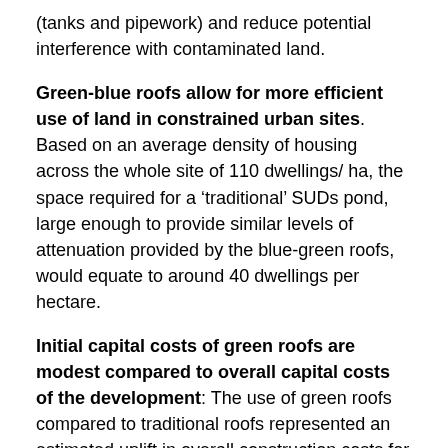(tanks and pipework) and reduce potential interference with contaminated land.
Green-blue roofs allow for more efficient use of land in constrained urban sites. Based on an average density of housing across the whole site of 110 dwellings/ ha, the space required for a ‘traditional’ SUDs pond, large enough to provide similar levels of attenuation provided by the blue-green roofs, would equate to around 40 dwellings per hectare.
Initial capital costs of green roofs are modest compared to overall capital costs of the development: The use of green roofs compared to traditional roofs represented an estimated uplift in overall construction costs for the whole development of less than 0.25%. If the additional capital costs of the roofs were split between all